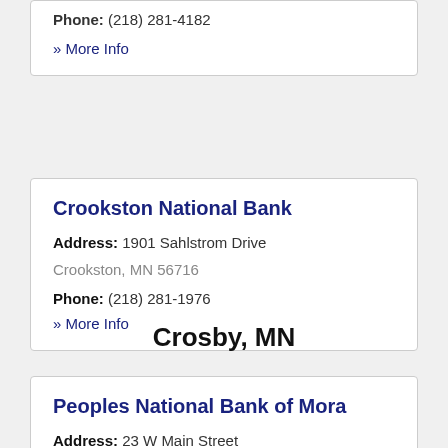Phone: (218) 281-4182
» More Info
Crookston National Bank
Address: 1901 Sahlstrom Drive Crookston, MN 56716
Phone: (218) 281-1976
» More Info
Crosby, MN
Peoples National Bank of Mora
Address: 23 W Main Street